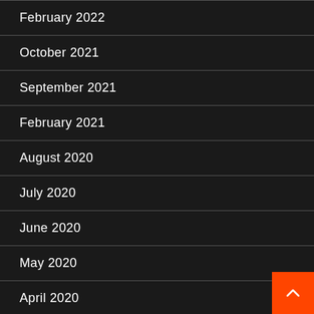February 2022
October 2021
September 2021
February 2021
August 2020
July 2020
June 2020
May 2020
April 2020